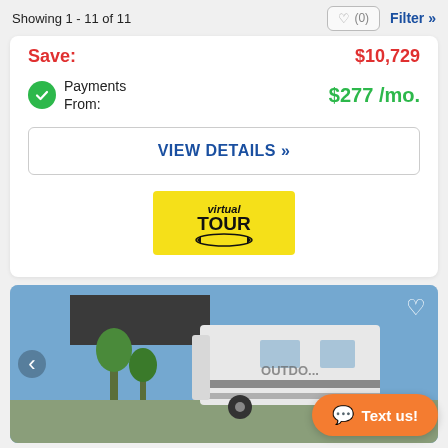Showing 1 - 11 of 11
Save: $10,729
Payments From: $277 /mo.
VIEW DETAILS »
[Figure (logo): Virtual Tour badge - yellow rectangle with 'virtual TOUR' text and rotating arrow graphic]
[Figure (photo): RV / travel trailer with awning extended, branded 'Outdoors', parked in a lot with blue sky background]